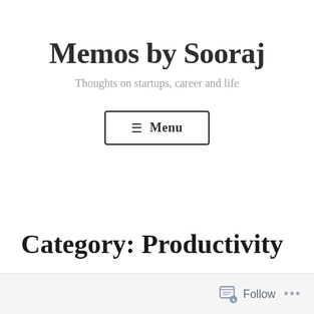Memos by Sooraj
Thoughts on startups, career and life
≡ Menu
Category: Productivity
Follow